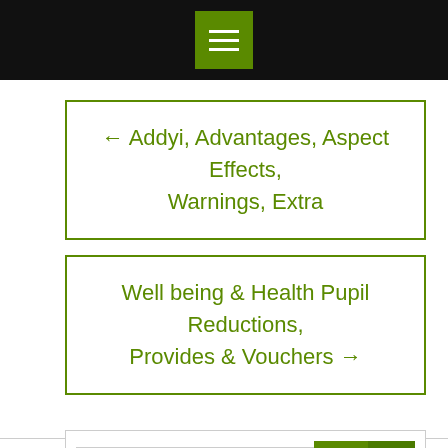[Figure (screenshot): Black top navigation bar with green hamburger menu button]
← Addyi, Advantages, Aspect Effects, Warnings, Extra
Well being & Health Pupil Reductions, Provides & Vouchers →
[Figure (screenshot): Search bar with green search button and green up arrow button]